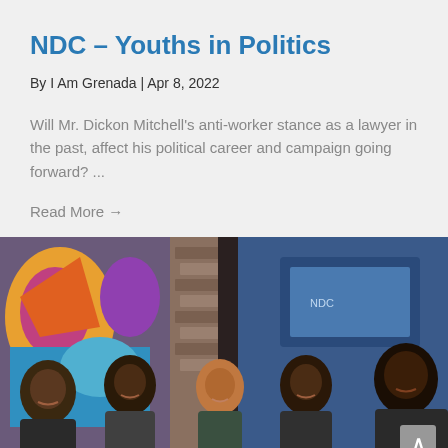NDC – Youths in Politics
By I Am Grenada | Apr 8, 2022
Will Mr. Dickon Mitchell's anti-worker stance as a lawyer in the past, affect his political career and campaign going forward? ...
Read More →
[Figure (photo): Group photo of five people standing and smiling in front of a colorful mural and brick wall background. The group includes four men and one woman.]